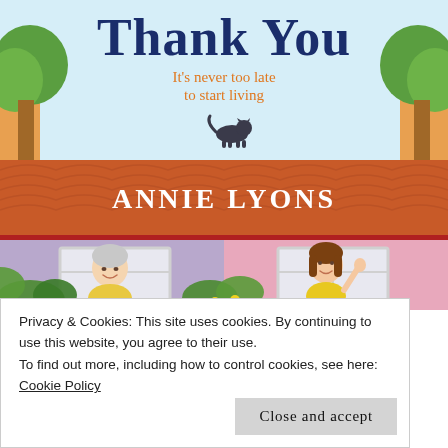[Figure (illustration): Book cover illustration for 'Thank You' by Annie Lyons. Top half: light blue sky with green trees on left and right sides, text 'Thank You' in large dark blue serif font at top, subtitle 'It's never too late to start living' in orange font below, a black cat silhouette walking on a terracotta/orange tile roof. Author name 'ANNIE LYONS' in white serif font on the orange roof band. Bottom half: two adjacent house fronts - left is lavender/light purple with an elderly grey-haired woman in a yellow floral blouse smiling at her window, right is pink with a younger brown-haired woman in a yellow top waving from her window. Green ivy and yellow flowers in the foreground.]
Privacy & Cookies: This site uses cookies. By continuing to use this website, you agree to their use.
To find out more, including how to control cookies, see here: Cookie Policy
Close and accept